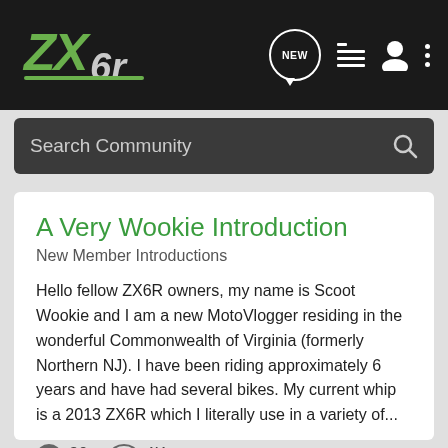ZX6R logo and navigation icons
Search Community
A Very Wookie Introduction
New Member Introductions
Hello fellow ZX6R owners, my name is Scoot Wookie and I am a new MotoVlogger residing in the wonderful Commonwealth of Virginia (formerly Northern NJ). I have been riding approximately 6 years and have had several bikes. My current whip is a 2013 ZX6R which I literally use in a variety of...
30  4K
ScootWookie · Nov 11, 2016
2013 zx6r  motovlog  motovlogger